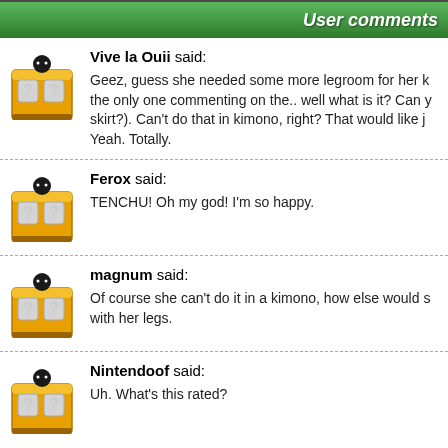User comments
Vive la Ouii said: Geez, guess she needed some more legroom for her k... the only one commenting on the.. well what is it? Can y... skirt?). Can't do that in kimono, right? That would like j... Yeah. Totally.
Ferox said: TENCHU! Oh my god! I'm so happy.
magnum said: Of course she can't do it in a kimono, how else would s... with her legs.
Nintendoof said: Uh. What's this rated?